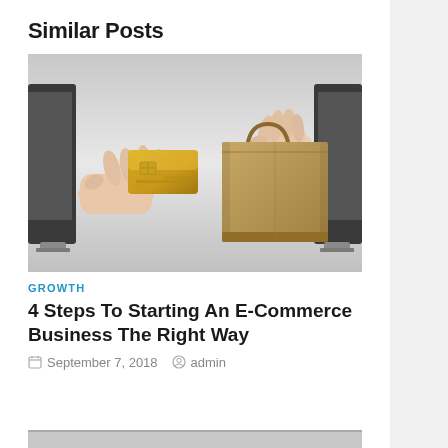Similar Posts
[Figure (photo): Two hands reaching out from behind computer monitors — one hand offering a gold credit card, the other hand holding a brown paper shopping bag — representing e-commerce transaction on a grey gradient background.]
GROWTH
4 Steps To Starting An E-Commerce Business The Right Way
September 7, 2018   admin